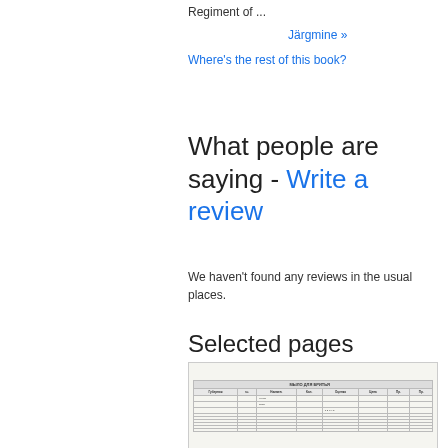Regiment of ...
Järgmine »
Where's the rest of this book?
What people are saying - Write a review
We haven't found any reviews in the usual places.
Selected pages
[Figure (table-as-image): Thumbnail image of a historical table/register page with columns and rows of data]